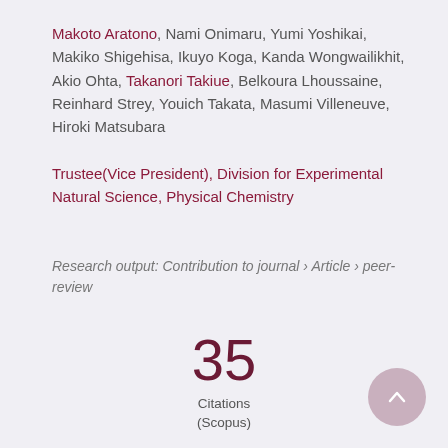Makoto Aratono, Nami Onimaru, Yumi Yoshikai, Makiko Shigehisa, Ikuyo Koga, Kanda Wongwailikhit, Akio Ohta, Takanori Takiue, Belkoura Lhoussaine, Reinhard Strey, Youich Takata, Masumi Villeneuve, Hiroki Matsubara
Trustee(Vice President), Division for Experimental Natural Science, Physical Chemistry
Research output: Contribution to journal › Article › peer-review
35 Citations (Scopus)